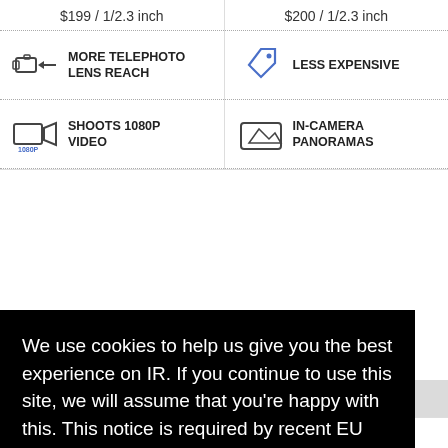$199 / 1/2.3 inch
$200 / 1/2.3 inch
MORE TELEPHOTO LENS REACH
LESS EXPENSIVE
SHOOTS 1080P VIDEO
IN-CAMERA PANORAMAS
We use cookies to help us give you the best experience on IR. If you continue to use this site, we will assume that you're happy with this. This notice is required by recent EU rules, and IR is read globally, so we need to keep the bureaucrats off our case!
Learn more
Got it!
$300 / 1/2.3 inch
$200 / 1/2.3 inch